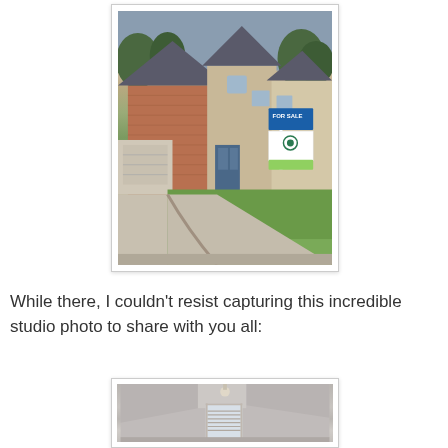[Figure (photo): Exterior photo of a two-story brick house with green lawn, driveway, and a 'For Sale' real estate sign in the front yard. Trees visible in background.]
While there, I couldn't resist capturing this incredible studio photo to share with you all:
[Figure (photo): Interior photo of an empty room with slanted ceiling/walls, a window with blinds, and a light fixture. Room appears to be an attic or studio space.]